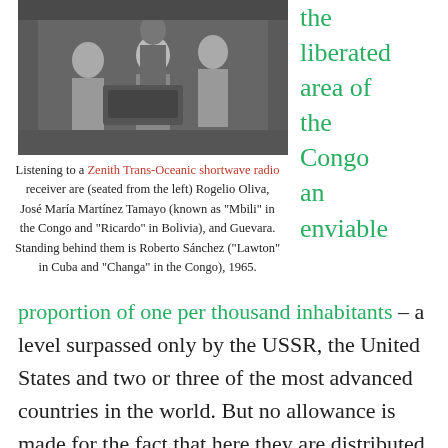[Figure (photo): Black and white photograph of people seated and standing, listening to a Zenith Trans-Oceanic shortwave radio receiver, 1965.]
Listening to a Zenith Trans-Oceanic shortwave radio receiver are (seated from the left) Rogelio Oliva, José María Martínez Tamayo (known as "Mbili" in the Congo and "Ricardo" in Bolivia), and Guevara. Standing behind them is Roberto Sánchez ("Lawton" in Cuba and "Changa" in the Congo), 1965.
the liberated area of the Congo an enviable
proportion of one per thousand inhabitants – a level surpassed only by the USSR, the United States and two or three of the most advanced countries in the world. But no allowance is made for the fact that here they are distributed according to political preference, without a trace of public health organisation. Instead of such